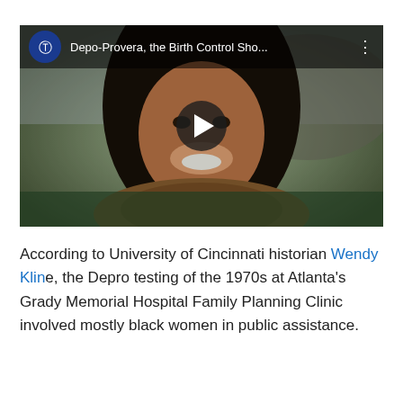[Figure (screenshot): YouTube video thumbnail showing a smiling woman with long dark hair and a knit scarf, with a Planned Parenthood logo and title 'Depo-Provera, the Birth Control Sho...' in the overlay bar, and a play button in the center.]
According to University of Cincinnati historian Wendy Kline, the Depro testing of the 1970s at Atlanta's Grady Memorial Hospital Family Planning Clinic involved mostly black women in public assistance.